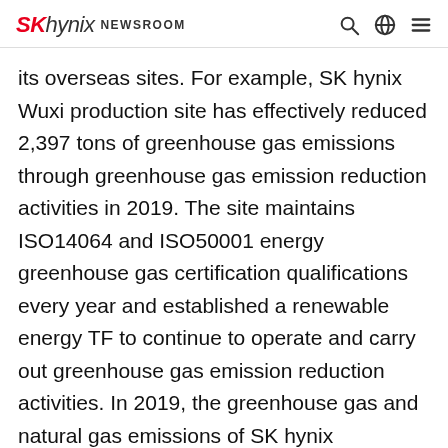SK hynix NEWSROOM
its overseas sites. For example, SK hynix Wuxi production site has effectively reduced 2,397 tons of greenhouse gas emissions through greenhouse gas emission reduction activities in 2019. The site maintains ISO14064 and ISO50001 energy greenhouse gas certification qualifications every year and established a renewable energy TF to continue to operate and carry out greenhouse gas emission reduction activities. In 2019, the greenhouse gas and natural gas emissions of SK hynix Chongqing production sites were reduced by 1,345 tons and